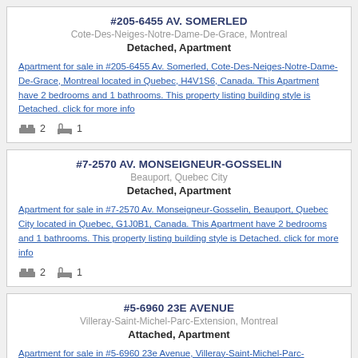#205-6455 AV. SOMERLED
Cote-Des-Neiges-Notre-Dame-De-Grace, Montreal
Detached, Apartment
Apartment for sale in #205-6455 Av. Somerled, Cote-Des-Neiges-Notre-Dame-De-Grace, Montreal located in Quebec, H4V1S6, Canada. This Apartment have 2 bedrooms and 1 bathrooms. This property listing building style is Detached. click for more info
2 bedrooms, 1 bathroom
#7-2570 AV. MONSEIGNEUR-GOSSELIN
Beauport, Quebec City
Detached, Apartment
Apartment for sale in #7-2570 Av. Monseigneur-Gosselin, Beauport, Quebec City located in Quebec, G1J0B1, Canada. This Apartment have 2 bedrooms and 1 bathrooms. This property listing building style is Detached. click for more info
2 bedrooms, 1 bathroom
#5-6960 23E AVENUE
Villeray-Saint-Michel-Parc-Extension, Montreal
Attached, Apartment
Apartment for sale in #5-6960 23e Avenue, Villeray-Saint-Michel-Parc-Extension, Montreal...